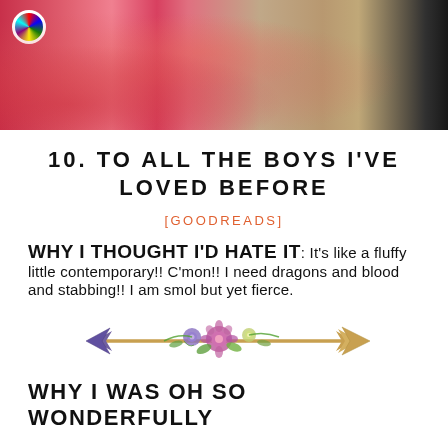[Figure (photo): Cropped photo showing colorful flowers on the left side and a person in a beige top on the right side against a dark background]
10. TO ALL THE BOYS I'VE LOVED BEFORE
[GOODREADS]
WHY I THOUGHT I'D HATE IT: It's like a fluffy little contemporary!! C'mon!! I need dragons and blood and stabbing!! I am smol but yet fierce.
[Figure (illustration): Decorative floral arrow illustration with flowers wrapped around a golden arrow pointing right]
WHY I WAS OH SO WONDERFULLY